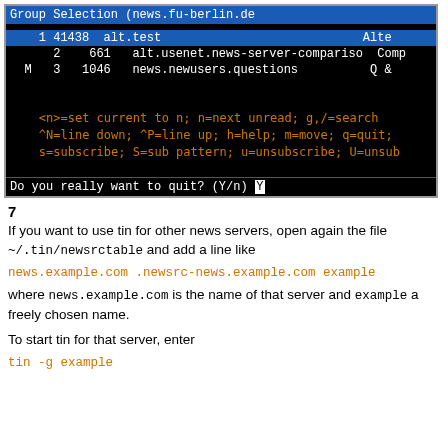[Figure (screenshot): Terminal screenshot showing tin newsreader Group Selection screen with highlighted row 'alt.test 41438', rows for alt.usenet.news-server-compariso and news.newusers.questions, orange command help text, and a quit prompt with Y input.]
7
If you want to use tin for other news servers, open again the file ~/.tin/newsrctable and add a line like
news.example.com .newsrc-news.example.com example
where news.example.com is the name of that server and example a freely chosen name.
To start tin for that server, enter
tin -g example